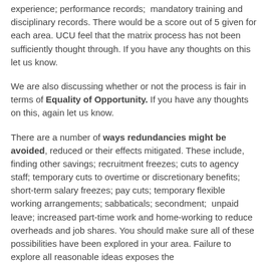experience; performance records;  mandatory training and disciplinary records. There would be a score out of 5 given for each area. UCU feel that the matrix process has not been sufficiently thought through. If you have any thoughts on this let us know.
We are also discussing whether or not the process is fair in terms of Equality of Opportunity. If you have any thoughts on this, again let us know.
There are a number of ways redundancies might be avoided, reduced or their effects mitigated. These include, finding other savings; recruitment freezes; cuts to agency staff; temporary cuts to overtime or discretionary benefits; short-term salary freezes; pay cuts; temporary flexible working arrangements; sabbaticals; secondment;  unpaid leave; increased part-time work and home-working to reduce overheads and job shares. You should make sure all of these possibilities have been explored in your area. Failure to explore all reasonable ideas exposes the